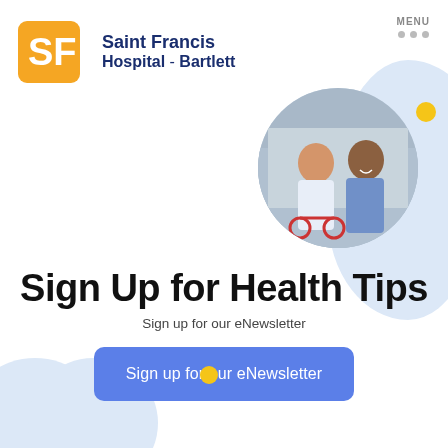[Figure (logo): Saint Francis Hospital Bartlett logo with SF icon in orange/yellow]
MENU
[Figure (photo): Circular photo of a healthcare worker assisting a patient in a wheelchair outdoors]
Sign Up for Health Tips
Sign up for our eNewsletter
Sign up for our eNewsletter